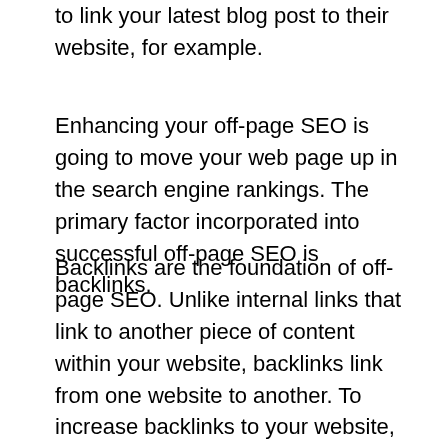to link your latest blog post to their website, for example.
Enhancing your off-page SEO is going to move your web page up in the search engine rankings. The primary factor incorporated into successful off-page SEO is backlinks.
Backlinks are the foundation of off-page SEO. Unlike internal links that link to another piece of content within your website, backlinks link from one website to another. To increase backlinks to your website, write guest blogs for other businesses, format your content into a popular backlink format: infographics, list posts, quizzes, and create compelling content that others will want to link back to. One way to do this is to search for